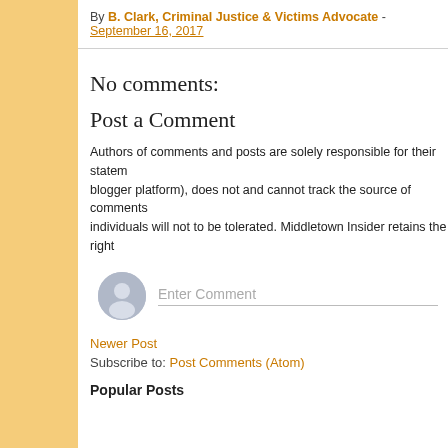By B. Clark, Criminal Justice & Victims Advocate - September 16, 2017
No comments:
Post a Comment
Authors of comments and posts are solely responsible for their statements (blogger platform), does not and cannot track the source of comments individuals will not to be tolerated. Middletown Insider retains the right
Enter Comment
Newer Post
Subscribe to: Post Comments (Atom)
Popular Posts